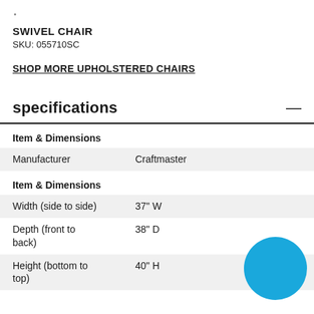SWIVEL CHAIR
SKU: 055710SC
SHOP MORE UPHOLSTERED CHAIRS
specifications
|  |  |
| --- | --- |
| Item & Dimensions |  |
| Manufacturer | Craftmaster |
| Item & Dimensions |  |
| Width (side to side) | 37" W |
| Depth (front to back) | 38" D |
| Height (bottom to top) | 40" H |
[Figure (illustration): Blue circle decorative element in bottom right corner]